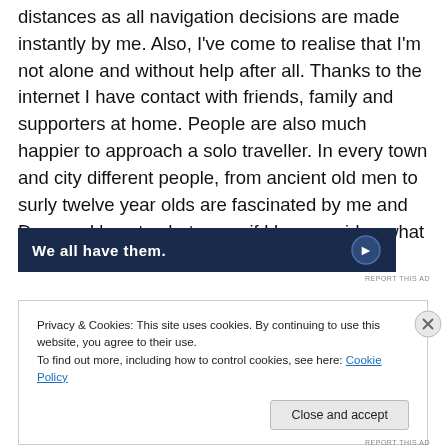distances as all navigation decisions are made instantly by me. Also, I've come to realise that I'm not alone and without help after all. Thanks to the internet I have contact with friends, family and supporters at home. People are also much happier to approach a solo traveller. In every town and city different people, from ancient old men to surly twelve year olds are fascinated by me and Dora and love to chat, even if I have no idea what they're saying.
[Figure (screenshot): Dark navy advertisement banner with white bold text 'We all have them.' and a circular logo icon on the right.]
REPORT THIS AD
Privacy & Cookies: This site uses cookies. By continuing to use this website, you agree to their use.
To find out more, including how to control cookies, see here: Cookie Policy
Close and accept
REPORT THIS AD